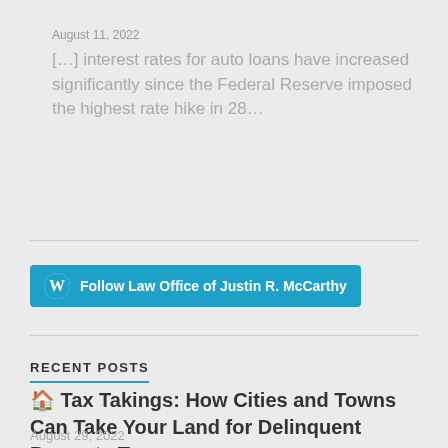August 11, 2022
[…] interest rates for auto loans have increased significantly since the Federal Reserve imposed the highest rate hike in 28…
[Figure (other): Follow Law Office of Justin R. McCarthy button with WordPress icon]
RECENT POSTS
🏠 Tax Takings: How Cities and Towns Can Take Your Land for Delinquent Property Taxes
August 29, 2022